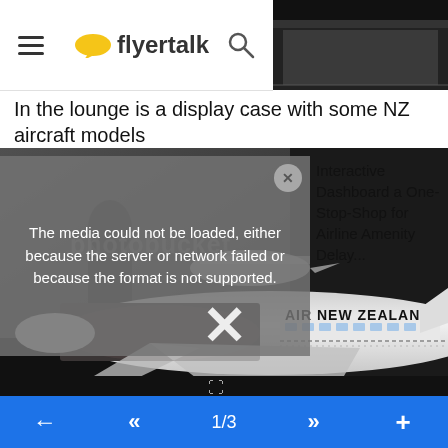[Figure (screenshot): FlyerTalk mobile app header bar with hamburger menu, FlyerTalk logo (yellow speech bubble with 'flyertalk' text), and search icon. Partially overlapped by a dark header photo on the right.]
In the lounge is a display case with some NZ aircraft models
[Figure (photo): Main image area showing an Air New Zealand aircraft model with The Lord of the Rings / Hobbit livery in a display case. A media playback error overlay reads: 'The media could not be loaded, either because the server or network failed or because the format is not supported.' An advertisement overlay on the right shows text: 'Interactive Dashboard a One-Stop-Shop for Airline Amenity Delay...' A large X close button is visible. Photobucket watermark visible. Background shows a blurred airport scene with a person and airplane.]
← « 1/3 » +